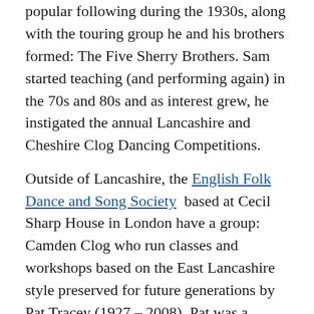popular following during the 1930s, along with the touring group he and his brothers formed: The Five Sherry Brothers. Sam started teaching (and performing again) in the 70s and 80s and as interest grew, he instigated the annual Lancashire and Cheshire Clog Dancing Competitions.
Outside of Lancashire, the English Folk Dance and Song Society based at Cecil Sharp House in London have a group: Camden Clog who run classes and workshops based on the East Lancashire style preserved for future generations by Pat Tracey (1927 – 2008). Pat was a talented clog dancer from the Lancashire town of Nelson, who was living in London at the time that the English Folk Dance Society (as it was then) were looking for teachers. She was responsible for teaching many of the dances that are still danced, which she had learnt